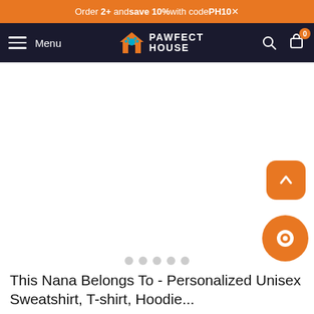Order 2+ and save 10% with code PH10
[Figure (logo): Pawfect House logo with paw/house icon and text PAWFECT HOUSE on dark navy navigation bar, with hamburger menu, search and cart icons]
[Figure (photo): Product image area - blank white product photo area for personalized unisex sweatshirt]
This Nana Belongs To - Personalized Unisex Sweatshirt, T-shirt, Hoodie...